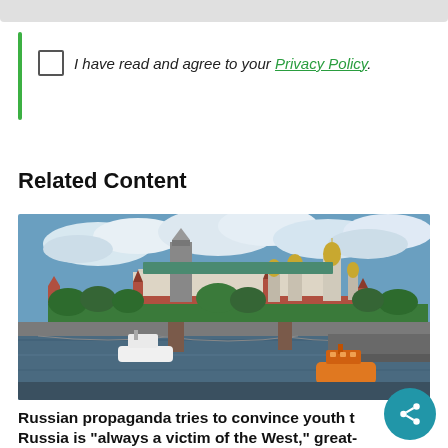I have read and agree to your Privacy Policy.
Related Content
[Figure (photo): Aerial view of the Moscow Kremlin and Moscow River with a bridge and boats, gold-domed churches visible in the skyline under a partly cloudy sky.]
Russian propaganda tries to convince youth that Russia is "always a victim of the West," great-granddaughter of Nikita Khrushchev says